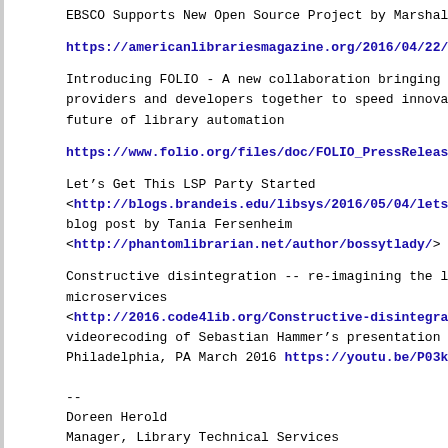EBSCO Supports New Open Source Project by Marshall Bre...
https://americanlibrariesmagazine.org/2016/04/22/ebsco-kuali-open-sourc...
Introducing FOLIO - A new collaboration bringing libra... providers and developers together to speed innovation... future of library automation
https://www.folio.org/files/doc/FOLIO_PressRelease_2016.pdf
Let's Get This LSP Party Started <http://blogs.brandeis.edu/libsys/2016/05/04/lets-get-this-lsp-party-starte... blog post by Tania Fersenheim <http://phantomlibrarian.net/author/bossytlady/>
Constructive disintegration -- re-imagining the libra... microservices <http://2016.code4lib.org/Constructive-disintegration-reimagining-the-lib... videorecoding of Sebastian Hammer's presentation at co... Philadelphia, PA March 2016 https://youtu.be/P03kD_Q5qcU?t=3...
--
Doreen Herold
Manager, Library Technical Services
Lehigh University
Library & Technology Services
30 Library Drive - Bethlehem, PA - 18015
610.758.3040 - [log in to unmask]